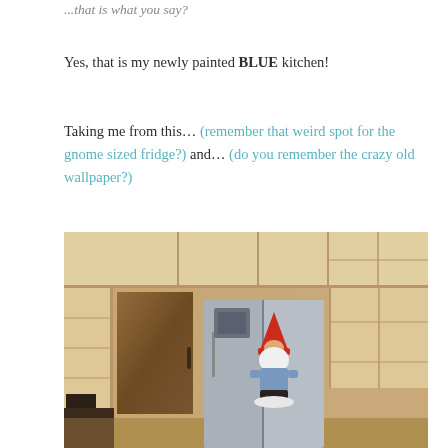...that is what you say?
Yes, that is my newly painted BLUE kitchen!
Taking me from this… (remember that weird spot for the gnome sized fridge?) and… (do you remember the crazy old wallpaper?)
[Figure (photo): Photo of a kitchen before renovation, showing a stainless steel French door refrigerator that appears large in the space, with open wooden shelving units on the walls, a doorway on the left side, and a garden gnome figurine standing in front of the refrigerator.]